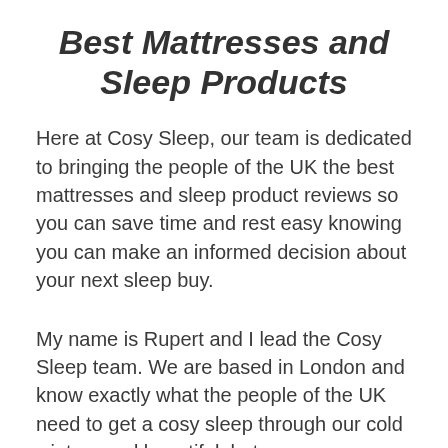Best Mattresses and Sleep Products
Here at Cosy Sleep, our team is dedicated to bringing the people of the UK the best mattresses and sleep product reviews so you can save time and rest easy knowing you can make an informed decision about your next sleep buy.
My name is Rupert and I lead the Cosy Sleep team. We are based in London and know exactly what the people of the UK need to get a cosy sleep through our cold winters and beautiful, hot summers.